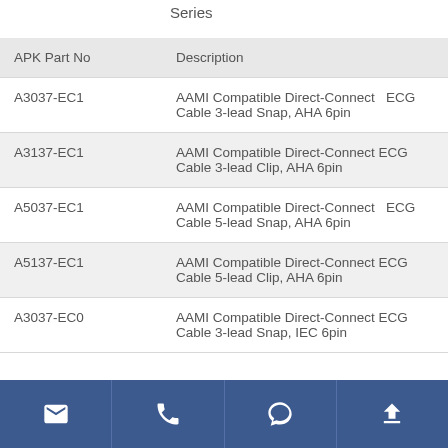Series
| APK Part No | Description |
| --- | --- |
| A3037-EC1 | AAMI Compatible Direct-Connect ECG Cable 3-lead Snap, AHA 6pin |
| A3137-EC1 | AAMI Compatible Direct-Connect ECG Cable 3-lead Clip, AHA 6pin |
| A5037-EC1 | AAMI Compatible Direct-Connect ECG Cable 5-lead Snap, AHA 6pin |
| A5137-EC1 | AAMI Compatible Direct-Connect ECG Cable 5-lead Clip, AHA 6pin |
| A3037-EC0 | AAMI Compatible Direct-Connect ECG Cable 3-lead Snap, IEC 6pin |
Email | Phone | Chat | Upload